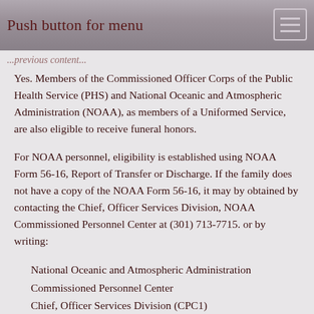Push button for menu
Yes. Members of the Commissioned Officer Corps of the Public Health Service (PHS) and National Oceanic and Atmospheric Administration (NOAA), as members of a Uniformed Service, are also eligible to receive funeral honors.
For NOAA personnel, eligibility is established using NOAA Form 56-16, Report of Transfer or Discharge. If the family does not have a copy of the NOAA Form 56-16, it may by obtained by contacting the Chief, Officer Services Division, NOAA Commissioned Personnel Center at (301) 713-7715. or by writing:
National Oceanic and Atmospheric Administration
Commissioned Personnel Center
Chief, Officer Services Division (CPC1)
1315 East-West Highway, Room 12100